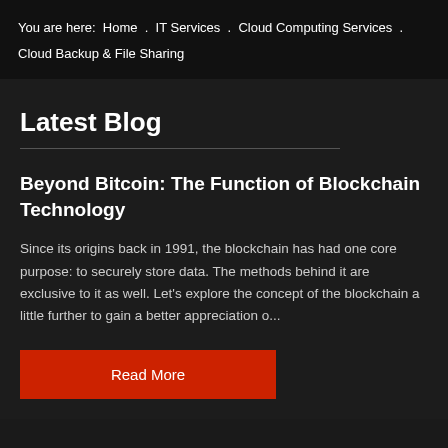You are here: Home . IT Services . Cloud Computing Services . Cloud Backup & File Sharing
Latest Blog
Beyond Bitcoin: The Function of Blockchain Technology
Since its origins back in 1991, the blockchain has had one core purpose: to securely store data. The methods behind it are exclusive to it as well. Let's explore the concept of the blockchain a little further to gain a better appreciation o...
Read More